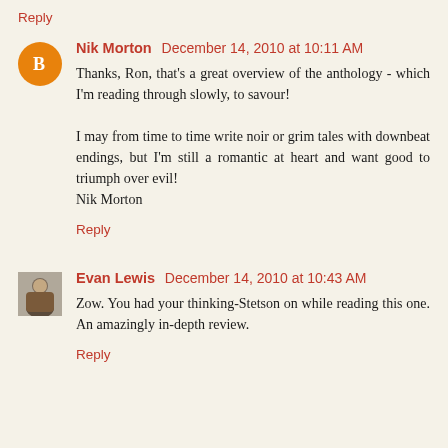Reply
Nik Morton  December 14, 2010 at 10:11 AM
Thanks, Ron, that's a great overview of the anthology - which I'm reading through slowly, to savour!

I may from time to time write noir or grim tales with downbeat endings, but I'm still a romantic at heart and want good to triumph over evil!
Nik Morton
Reply
Evan Lewis  December 14, 2010 at 10:43 AM
Zow. You had your thinking-Stetson on while reading this one. An amazingly in-depth review.
Reply